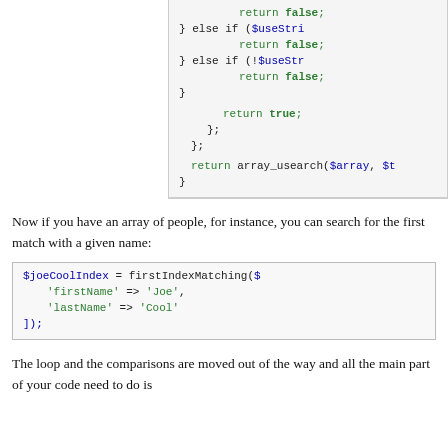[Figure (screenshot): PHP code block showing return false and return true statements with if-else logic and closing braces, and a return array_usearch call]
Now if you have an array of people, for instance, you can search for the first match with a given name:
[Figure (screenshot): PHP code block: $joeCoolIndex = firstIndexMatching($..., with 'firstName' => 'Joe', 'lastName' => 'Cool', ]);]
The loop and the comparisons are moved out of the way and all the main part of your code need to do is